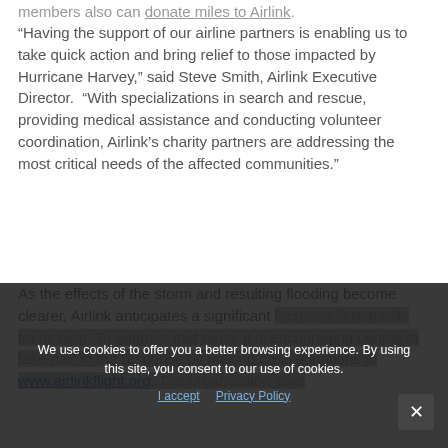members also can donate miles to Airlink.
“Having the support of our airline partners is enabling us to take quick action and bring relief to those impacted by Hurricane Harvey,” said Steve Smith, Airlink Executive Director. “With specializations in search and rescue, providing medical assistance and conducting volunteer coordination, Airlink’s charity partners are addressing the most critical needs of the affected communities.”
As the effects of the storm and resulting flooding become clearer, Airlink anticipates a significant increase in requests for its help. To address that need, it is encouraging people to take part in the response by making cash donations at www.airlinkflight.org. The organization says
We use cookies to offer you a better browsing experience. By using this site, you consent to our use of cookies.